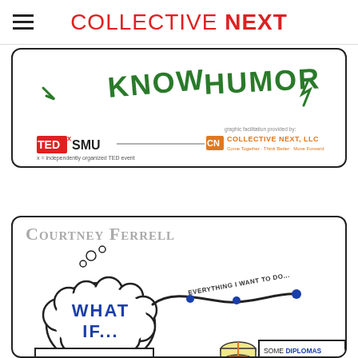COLLECTIVE NEXT
[Figure (illustration): Partial illustration from TEDxSMU graphic facilitation by Collective Next LLC, showing green hand-lettered text 'KNOW' and 'HUMOR' with logos at the bottom: TEDxSMU (independently organized TED event) and Collective Next LLC (Come Together - Think Better - Move Forward)]
[Figure (illustration): Graphic facilitation illustration for speaker Courtney Ferrell. Shows a thought bubble with 'WHAT IF...' in blue letters, connected lines labeled 'EVERYTHING I WANT TO DO...' A box reads 'MISTAKES ARE AS IMPORTANT AS SUCCESSES' and another reads 'SOME DIPLOMAS ARE WORTH MORE THAN OTHERS...']